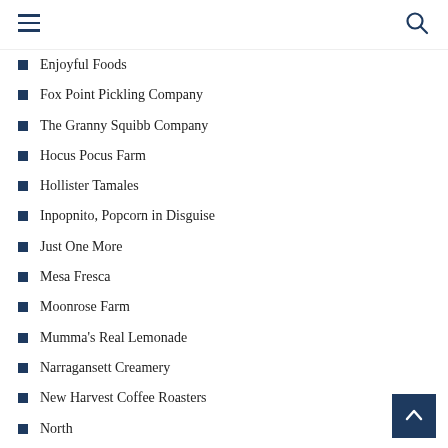Navigation header with hamburger menu and search icon
Enjoyful Foods
Fox Point Pickling Company
The Granny Squibb Company
Hocus Pocus Farm
Hollister Tamales
Inpopnito, Popcorn in Disguise
Just One More
Mesa Fresca
Moonrose Farm
Mumma's Real Lemonade
Narragansett Creamery
New Harvest Coffee Roasters
North
Ocean State Smoked Fish Company